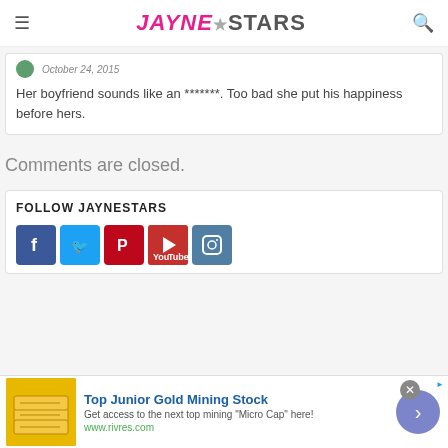JAYNE STARS
Her boyfriend sounds like an *******. Too bad she put his happiness before hers.
Comments are closed.
FOLLOW JAYNESTARS
[Figure (other): Social media icons: Facebook, Twitter, Pinterest, YouTube, Instagram]
[Figure (other): Advertisement: Top Junior Gold Mining Stock - Get access to the next top mining Micro Cap here! www.rivres.com]